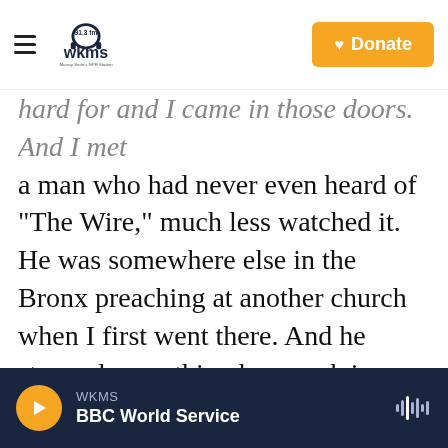WKMS 91.3 FM — Murray State's NPR Station | Donate
hard for and I came in those doors. And I met a man who had never even heard of "The Wire," much less watched it. He was somewhere else in the Bronx preaching at another church when I first went there. And he stopped everything he was doing, ran back to New Jersey just because his team at the church told him that some, you know, some guy named Omar was in trouble and needed to speak to him. And he came in his office. And he says, write your full name down and your email, said, I'm going to go get you a Bible, man. You could keep that. And we going to
WKMS  BBC World Service